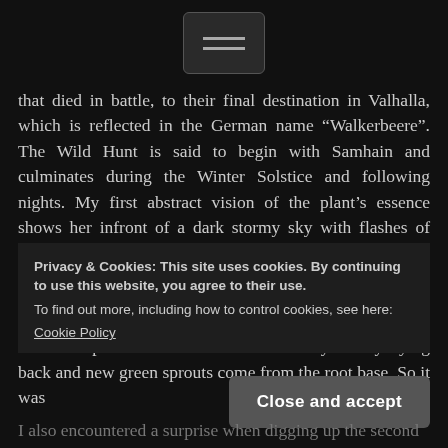[Figure (other): Hamburger menu button icon with three horizontal lines]
that died in battle, to their final destination in Valhalla, which is reflected in the German name “Walkerbeere”. The Wild Hunt is said to begin with Samhain and culminates during the Winter Solstice and following nights. My first abstract vision of the plant’s essence shows her infront of a dark stormy sky with flashes of lightning and blood is raining from black clouds.
I took two roots, grown in pots, and both about 3 years old. The plants have flowered ready and the lasts berries are also ripe. In fact the stems are already slowly dying back and new green sprouts come from the root base. So it was
Privacy & Cookies: This site uses cookies. By continuing to use this website, you agree to their use.
To find out more, including how to control cookies, see here:
Cookie Policy
Close and accept
I also encountered a surprise when digging up the second